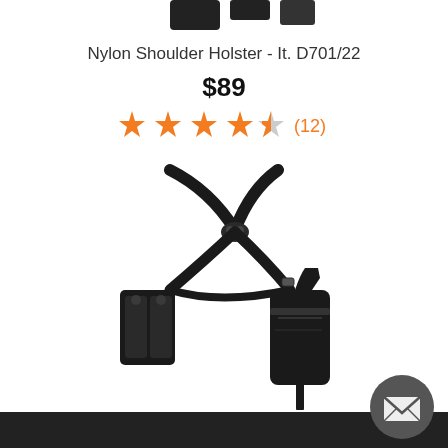[Figure (photo): Partial cropped view of holster product at top of page]
Nylon Shoulder Holster - It. D701/22
$89
[Figure (other): Star rating: 4.5 stars out of 5, with 12 reviews shown in orange]
[Figure (photo): Black nylon shoulder holster system with straps, magazine pouch on left side, and gun holster on right side]
[Figure (other): Dark circular mail/envelope button in bottom right corner]